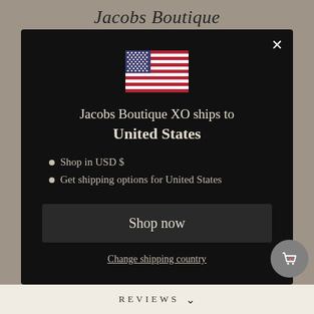Jacobs Boutique
[Figure (illustration): US flag emoji icon displayed in the modal dialog]
Jacobs Boutique XO ships to United States
Shop in USD $
Get shipping options for United States
Shop now
Change shipping country
REVIEWS